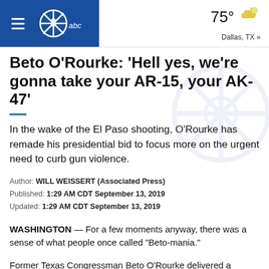75° Dallas, TX »
Beto O'Rourke: 'Hell yes, we're gonna take your AR-15, your AK-47'
In the wake of the El Paso shooting, O'Rourke has remade his presidential bid to focus more on the urgent need to curb gun violence.
Author: WILL WEISSERT (Associated Press)
Published: 1:29 AM CDT September 13, 2019
Updated: 1:29 AM CDT September 13, 2019
WASHINGTON — For a few moments anyway, there was a sense of what people once called "Beto-mania."
Former Texas Congressman Beto O'Rourke delivered a debate performance on Thursday in Houston that at times reminded a national audience why he became a Democratic star last year — even as he lost a Senate race